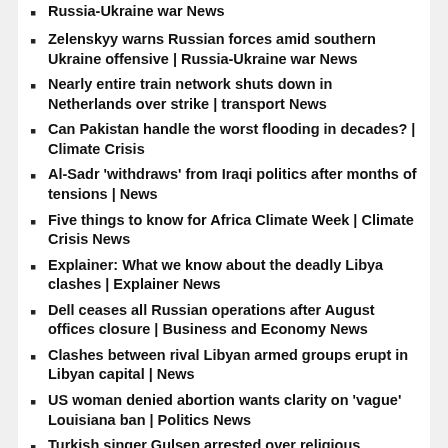Russia-Ukraine war News
Zelenskyy warns Russian forces amid southern Ukraine offensive | Russia-Ukraine war News
Nearly entire train network shuts down in Netherlands over strike | transport News
Can Pakistan handle the worst flooding in decades? | Climate Crisis
Al-Sadr 'withdraws' from Iraqi politics after months of tensions | News
Five things to know for Africa Climate Week | Climate Crisis News
Explainer: What we know about the deadly Libya clashes | Explainer News
Dell ceases all Russian operations after August offices closure | Business and Economy News
Clashes between rival Libyan armed groups erupt in Libyan capital | News
US woman denied abortion wants clarity on ‘vague’ Louisiana ban | Politics News
Turkish singer Gulsen arrested over religious schools comment | Religion News